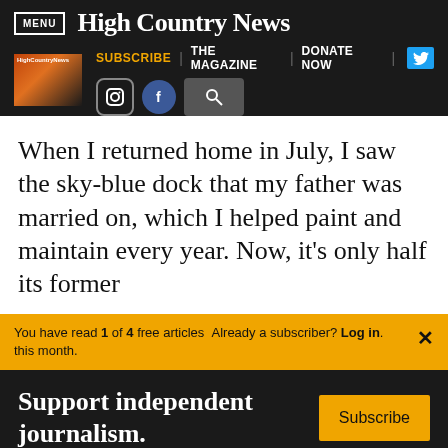MENU | High Country News
[Figure (screenshot): High Country News website navigation bar with SUBSCRIBE, THE MAGAZINE, DONATE NOW links, Twitter, Instagram, Facebook, and search icons, plus magazine thumbnail]
When I returned home in July, I saw the sky-blue dock that my father was married on, which I helped paint and maintain every year. Now, it's only half its former
You have read 1 of 4 free articles this month.
Already a subscriber? Log in.
Support independent journalism.
Subscribe